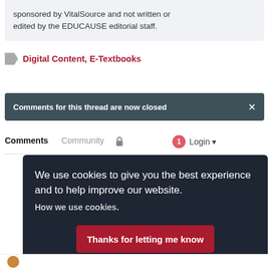sponsored by VitalSource and not written or edited by the EDUCAUSE editorial staff.
Digital Content, E-Textbooks
Comments for this thread are now closed
Comments   Community   Login
We use cookies to give you the best experience and to help improve our website. How we use cookies.
Thanks for letting me know